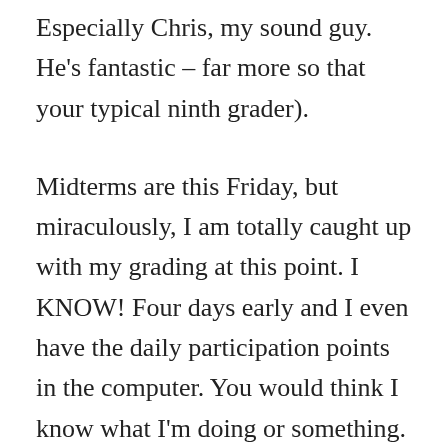Especially Chris, my sound guy. He's fantastic – far more so that your typical ninth grader).
Midterms are this Friday, but miraculously, I am totally caught up with my grading at this point. I KNOW! Four days early and I even have the daily participation points in the computer. You would think I know what I'm doing or something.